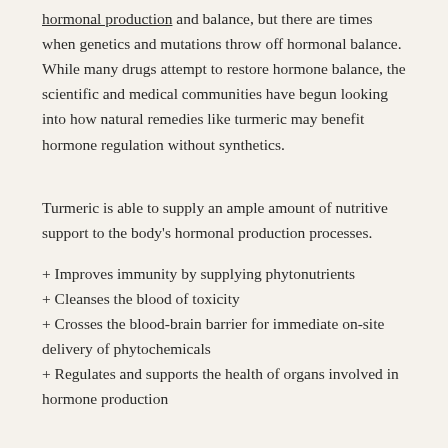hormonal production and balance, but there are times when genetics and mutations throw off hormonal balance. While many drugs attempt to restore hormone balance, the scientific and medical communities have begun looking into how natural remedies like turmeric may benefit hormone regulation without synthetics.
Turmeric is able to supply an ample amount of nutritive support to the body's hormonal production processes.
+ Improves immunity by supplying phytonutrients
+ Cleanses the blood of toxicity
+ Crosses the blood-brain barrier for immediate on-site delivery of phytochemicals
+ Regulates and supports the health of organs involved in hormone production